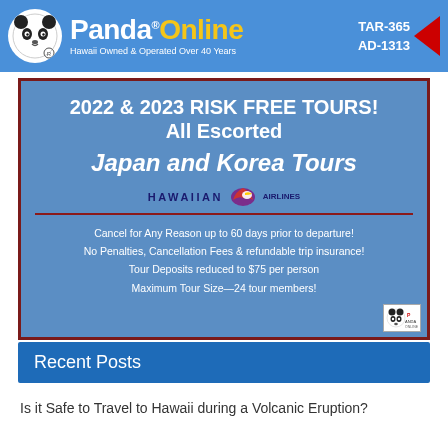Panda® Online — Hawaii Owned & Operated Over 40 Years | TAR-365 AD-1313
[Figure (infographic): Panda Online travel advertisement for 2022 & 2023 Risk Free Tours — All Escorted Japan and Korea Tours via Hawaiian Airlines. Cancel for Any Reason up to 60 days prior to departure! No Penalties, Cancellation Fees & refundable trip insurance! Tour Deposits reduced to $75 per person. Maximum Tour Size—24 tour members!]
Recent Posts
Is it Safe to Travel to Hawaii during a Volcanic Eruption?